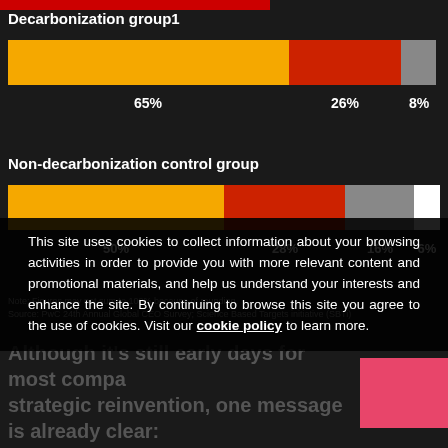[Figure (stacked-bar-chart): Decarbonization group1]
[Figure (stacked-bar-chart): Non-decarbonization control group]
Note: Figures may not sum to 100% because of rounding. Source: PwC 24th Annual Global CEO Survey; Science Based Targets initiative (SBTi)
Although it's still early days for most companies strategic reinvention, one message is already clear: